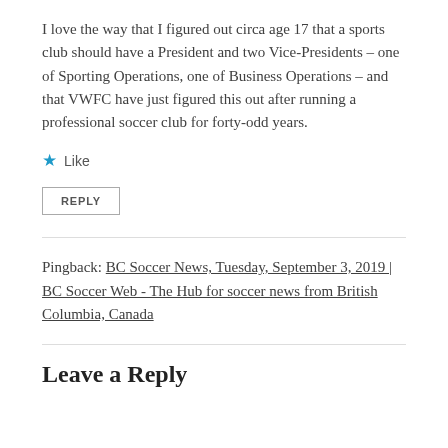I love the way that I figured out circa age 17 that a sports club should have a President and two Vice-Presidents – one of Sporting Operations, one of Business Operations – and that VWFC have just figured this out after running a professional soccer club for forty-odd years.
★ Like
REPLY
Pingback: BC Soccer News, Tuesday, September 3, 2019 | BC Soccer Web - The Hub for soccer news from British Columbia, Canada
Leave a Reply